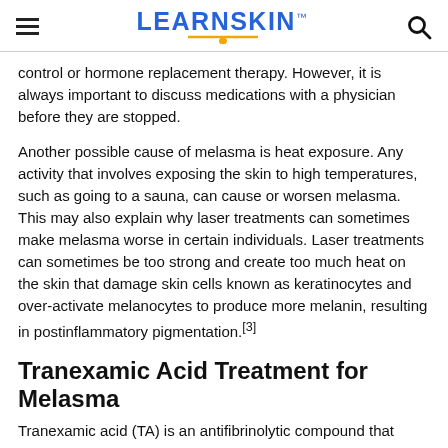LEARNSKIN™
control or hormone replacement therapy. However, it is always important to discuss medications with a physician before they are stopped.
Another possible cause of melasma is heat exposure. Any activity that involves exposing the skin to high temperatures, such as going to a sauna, can cause or worsen melasma. This may also explain why laser treatments can sometimes make melasma worse in certain individuals. Laser treatments can sometimes be too strong and create too much heat on the skin that damage skin cells known as keratinocytes and over-activate melanocytes to produce more melanin, resulting in postinflammatory pigmentation.[3]
Tranexamic Acid Treatment for Melasma
Tranexamic acid (TA) is an antifibrinolytic compound that